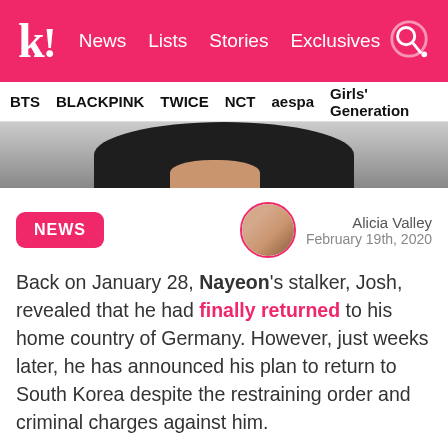k! News Lists Stories Exclusives
BTS BLACKPINK TWICE NCT aespa Girls' Generation
[Figure (photo): Partial photo of a person with dark hair, cropped to show top of head]
NEWS | Alicia Valley | February 19th, 2020
Back on January 28, Nayeon's stalker, Josh, revealed that he had finally returned to his home country of Germany. However, just weeks later, he has announced his plan to return to South Korea despite the restraining order and criminal charges against him.
In his messages from late January, Josh claimed that he was returning to Germany